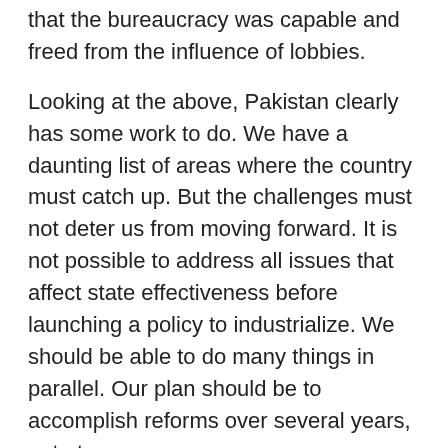that the bureaucracy was capable and freed from the influence of lobbies.
Looking at the above, Pakistan clearly has some work to do. We have a daunting list of areas where the country must catch up. But the challenges must not deter us from moving forward. It is not possible to address all issues that affect state effectiveness before launching a policy to industrialize. We should be able to do many things in parallel. Our plan should be to accomplish reforms over several years, not at once.
Pakistan has faced many problems before. Its people have always risen to challenges. With the resolve of a committed leader, supported by an able team, the whole country would respond to building a strong economy. We have no other option. For the sake of our sovereignty and our future this has to be done.